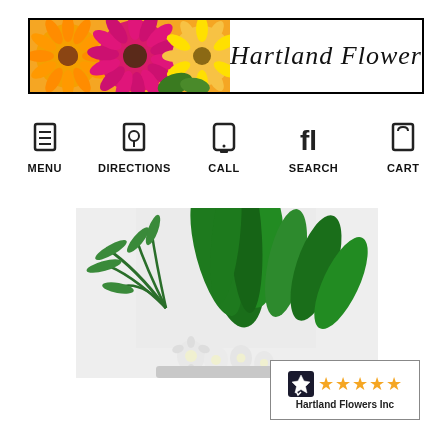[Figure (logo): Hartland Flowers banner header with colorful gerbera daisies on the left and script text 'Hartland Flowers' on the right]
MENU
DIRECTIONS
CALL
SEARCH
CART
[Figure (photo): Photo of green tropical houseplants arrangement with white flowers at bottom, against a white background]
[Figure (logo): Shopper Approved rating badge showing 5 stars and 'Hartland Flowers Inc' text]